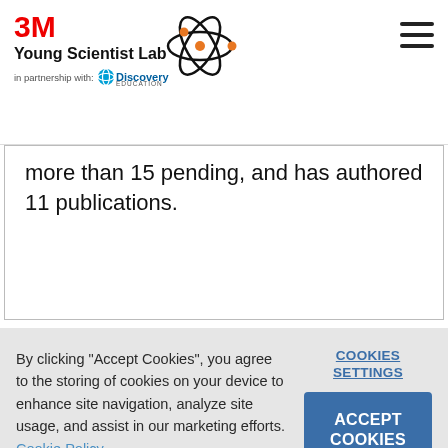3M Young Scientist Lab in partnership with Discovery Education
more than 15 pending, and has authored 11 publications.
By clicking "Accept Cookies", you agree to the storing of cookies on your device to enhance site navigation, analyze site usage, and assist in our marketing efforts. Cookie Policy
COOKIES SETTINGS
ACCEPT COOKIES